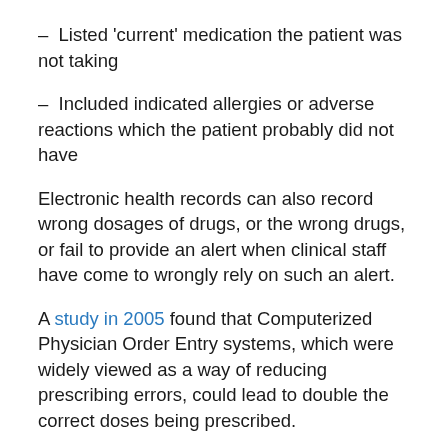– Listed 'current' medication the patient was not taking
– Included indicated allergies or adverse reactions which the patient probably did not have
Electronic health records can also record wrong dosages of drugs, or the wrong drugs, or fail to provide an alert when clinical staff have come to wrongly rely on such an alert.
A study in 2005 found that Computerized Physician Order Entry systems, which were widely viewed as a way of reducing prescribing errors, could lead to double the correct doses being prescribed.
One problem of health IT in hospitals is that computer systems are introduced alongside paper where neither one nor the other is a single source of truth. This could